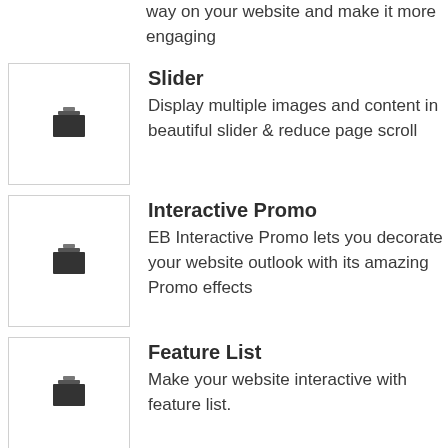way on your website and make it more engaging
Slider
Display multiple images and content in beautiful slider & reduce page scroll
Interactive Promo
EB Interactive Promo lets you decorate your website outlook with its amazing Promo effects
Feature List
Make your website interactive with feature list.
Number Counter
Put spotlight in important data using